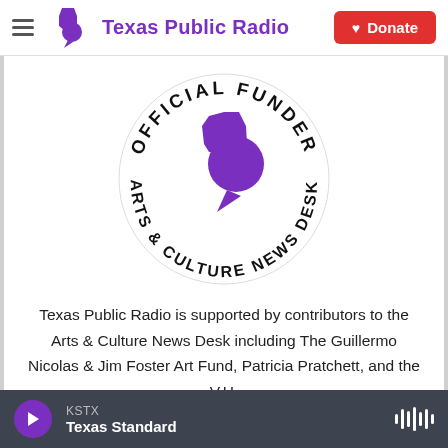Texas Public Radio — Donate
[Figure (logo): Texas Public Radio 'Official Funder Arts & Culture News Desk' circular badge logo with purple Texas state shape and speech bubble icon in center, text arched around top reading 'OFFICIAL FUNDER' and bottom reading 'ARTS & CULTURE NEWS DESK']
Texas Public Radio is supported by contributors to the Arts & Culture News Desk including The Guillermo Nicolas & Jim Foster Art Fund, Patricia Pratchett, and the V.H.
KSTX  Texas Standard